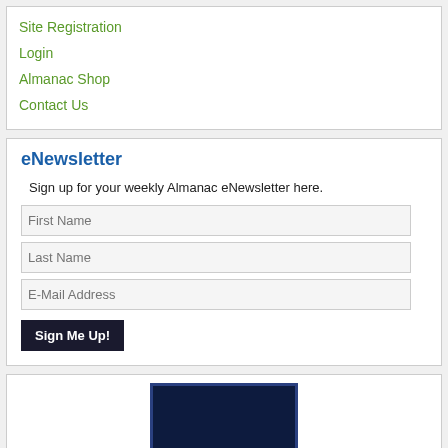Site Registration
Login
Almanac Shop
Contact Us
eNewsletter
Sign up for your weekly Almanac eNewsletter here.
First Name
Last Name
E-Mail Address
Sign Me Up!
[Figure (illustration): Dark navy advertisement box with white text reading EVERYBODY KNOWS in monospace font, surrounded by a border]